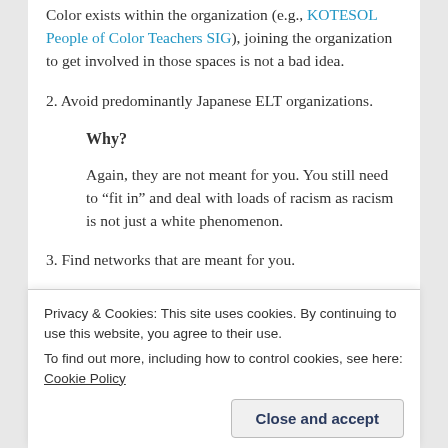Color exists within the organization (e.g., KOTESOL People of Color Teachers SIG), joining the organization to get involved in those spaces is not a bad idea.
2. Avoid predominantly Japanese ELT organizations.
Why?
Again, they are not meant for you. You still need to “fit in” and deal with loads of racism as racism is not just a white phenomenon.
3. Find networks that are meant for you.
Privacy & Cookies: This site uses cookies. By continuing to use this website, you agree to their use. To find out more, including how to control cookies, see here: Cookie Policy
a union.